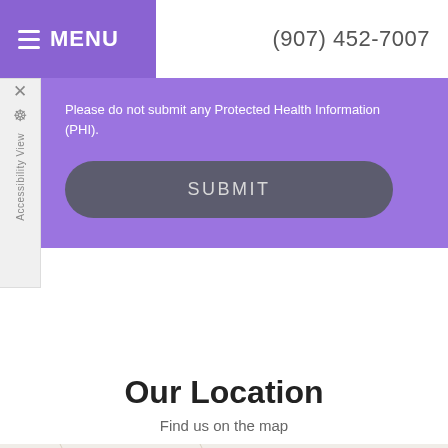≡ MENU   (907) 452-7007
Please do not submit any Protected Health Information (PHI).
SUBMIT
Our Location
Find us on the map
[Figure (map): Map strip showing street lines at the bottom of the page]